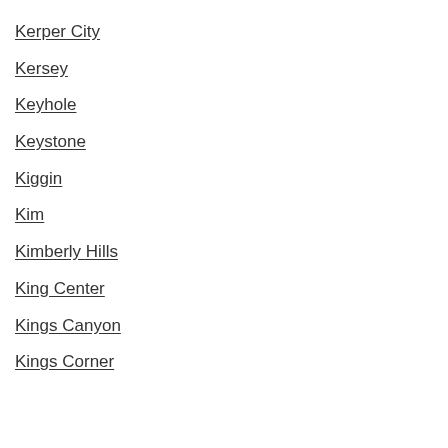Kerper City
Kersey
Keyhole
Keystone
Kiggin
Kim
Kimberly Hills
King Center
Kings Canyon
Kings Corner